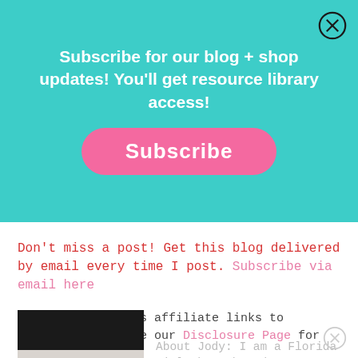[Figure (infographic): Teal/turquoise subscription banner with white bold text reading 'Subscribe for our blog + shop updates! You'll get resource library access!' and a pink rounded button labeled 'Subscribe'. A circle X close button is in the top right corner.]
Don't miss a post! Get this blog delivered by email every time I post. Subscribe via email here
This post contains affiliate links to Amazon. Please see our Disclosure Page for more information.
[Figure (photo): Partial photo of a woman (author) with dark hair, upper portion visible, against a light background.]
About Jody: I am a Florida girl through and